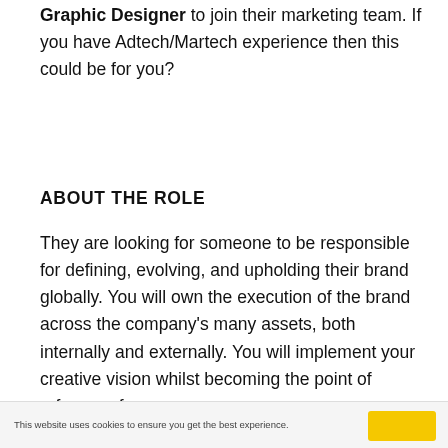Graphic Designer to join their marketing team. If you have Adtech/Martech experience then this could be for you?
ABOUT THE ROLE
They are looking for someone to be responsible for defining, evolving, and upholding their brand globally. You will own the execution of the brand across the company's many assets, both internally and externally. You will implement your creative vision whilst becoming the point of reference for any
This website uses cookies to ensure you get the best experience.